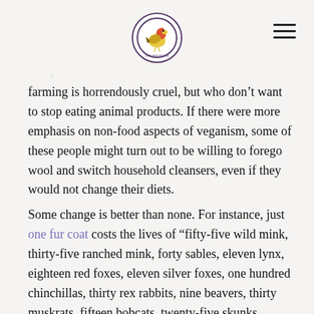[Logo: Our Hen House] [Hamburger menu icon]
farming is horrendously cruel, but who don’t want to stop eating animal products. If there were more emphasis on non-food aspects of veganism, some of these people might turn out to be willing to forego wool and switch household cleansers, even if they would not change their diets.
Some change is better than none. For instance, just one fur coat costs the lives of “fifty-five wild mink, thirty-five ranched mink, forty sables, eleven lynx, eighteen red foxes, eleven silver foxes, one hundred chinchillas, thirty rex rabbits, nine beavers, thirty muskrats, fifteen bobcats, twenty-five skunks, fourteen otters, one hundred twenty-five ermines, thirty possums, one hundred squirrels, or twenty-seven raccoons.” Someone who decides to stop wearing fur makes a difference,